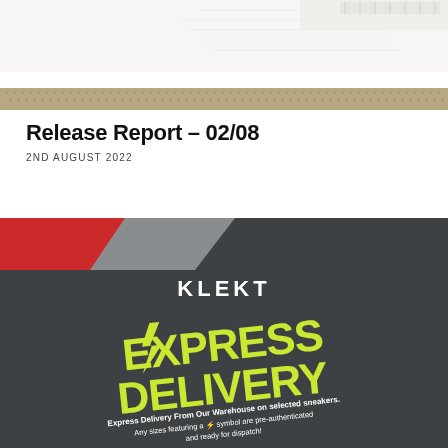[Figure (photo): Close-up photograph of the bottom sole and midsole of a white sneaker (Air Force 1 style), showing the textured rubber outsole in beige/tan color against a white background.]
Release Report – 02/08
2ND AUGUST 2022
[Figure (photo): Dark grey cardboard background with colorful design elements. Top left corner shows a red and grey color block. Center shows 'KLEKT' in white bold text and 'EXPRESS DELIVERY' in large yellow/lime green bold text with a lightning bolt icon. Below reads: 'Express Delivery From Our Warehouse on selected sneakers. Any sizes featuring a lightning symbol are pre-authenticated and ready for dispatch!']